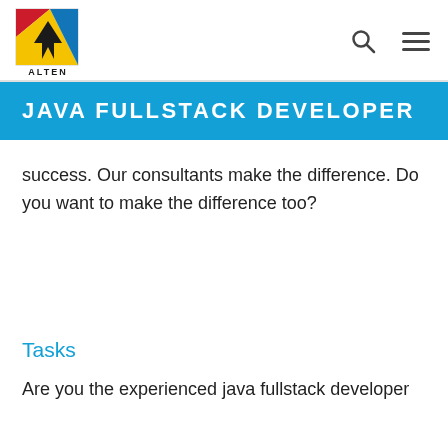[Figure (logo): ALTEN company logo — colorful geometric design with red, yellow, blue triangles and black arrow, with ALTEN text below]
JAVA FULLSTACK DEVELOPER
success. Our consultants make the difference. Do you want to make the difference too?
Tasks
Are you the experienced java fullstack developer